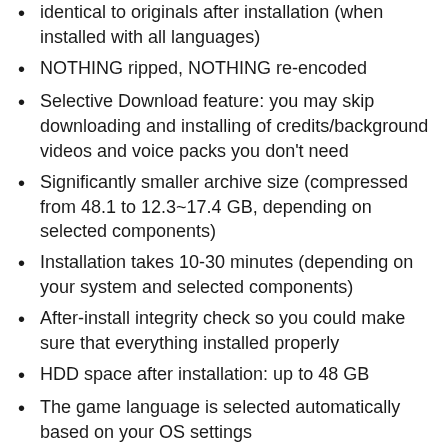identical to originals after installation (when installed with all languages)
NOTHING ripped, NOTHING re-encoded
Selective Download feature: you may skip downloading and installing of credits/background videos and voice packs you don't need
Significantly smaller archive size (compressed from 48.1 to 12.3~17.4 GB, depending on selected components)
Installation takes 10-30 minutes (depending on your system and selected components)
After-install integrity check so you could make sure that everything installed properly
HDD space after installation: up to 48 GB
The game language is selected automatically based on your OS settings
Repack uses ZTool library by Razor12911
At least 2 GB of free RAM (Inc. virtual) required